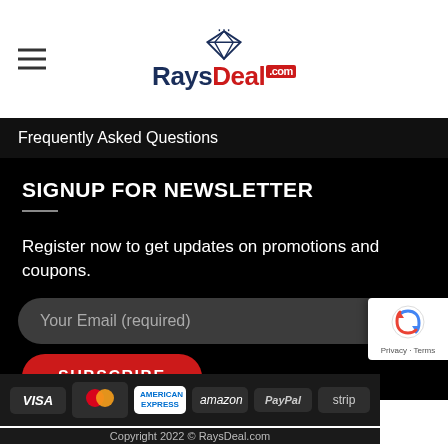RaysDeal.com
Frequently Asked Questions
SIGNUP FOR NEWSLETTER
Register now to get updates on promotions and coupons.
Your Email (required)
SUBSCRIBE
[Figure (logo): Payment method logos: VISA, MasterCard, American Express, amazon, PayPal, stripe]
Copyright 2022 © RaysDeal.com